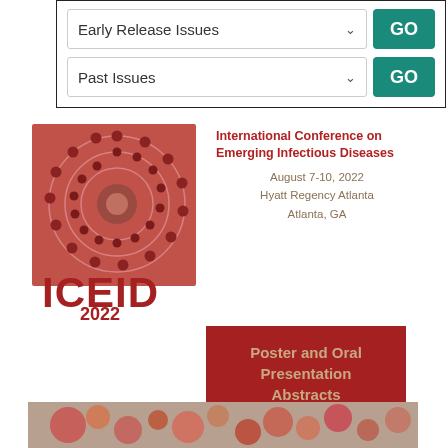[Figure (screenshot): UI widget with two dropdown rows labeled 'Early Release Issues' and 'Past Issues', each with a teal GO button]
[Figure (illustration): ICEID 2022 conference logo and banner. Left side shows the ICEID circular virus graphic and 'ICEID 2022' text in red. Right side shows conference title 'International Conference on Emerging Infectious Diseases', dates August 7-10 2022, Hyatt Regency Atlanta, Atlanta GA, and a red box with 'Poster and Oral Presentation Abstracts']
[Figure (photo): Partial photo strip at the bottom showing colorful microscopy or illustration image]